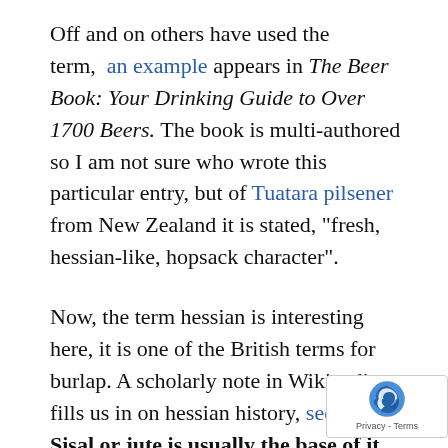Off and on others have used the term, an example appears in The Beer Book: Your Drinking Guide to Over 1700 Beers. The book is multi-authored so I am not sure who wrote this particular entry, but of Tuatara pilsener from New Zealand it is stated, "fresh, hessian-like, hopsack character".
Now, the term hessian is interesting here, it is one of the British terms for burlap. A scholarly note in Wikipedia fills us in on hessian history, see here. Sisal or jute is usually the base of it, of course vegetative in origin.
So an earthy, vegetable-like smell and taste, I think most know it from burlap bags in our daily life, it is one of the strongest natural fibres known, and fully bio-degradable. A benefaction of nature, jute...